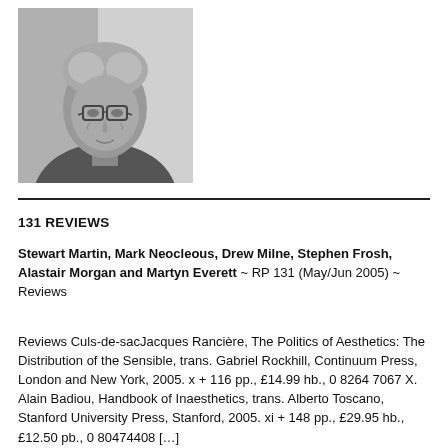[Figure (photo): Black and white portrait photograph of an elderly person wearing glasses, shown from shoulders up, with light background]
131 REVIEWS
Stewart Martin, Mark Neocleous, Drew Milne, Stephen Frosh, Alastair Morgan and Martyn Everett ~ RP 131 (May/Jun 2005) ~ Reviews
Reviews Culs-de-sacJacques Rancière, The Politics of Aesthetics: The Distribution of the Sensible, trans. Gabriel Rockhill, Continuum Press, London and New York, 2005. x + 116 pp., £14.99 hb., 0 8264 7067 X. Alain Badiou, Handbook of Inaesthetics, trans. Alberto Toscano, Stanford University Press, Stanford, 2005. xi + 148 pp., £29.95 hb., £12.50 pb., 0 80474408 […]